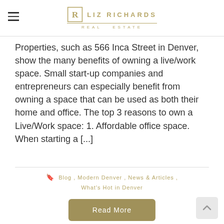Liz Richards Real Estate
Properties, such as 566 Inca Street in Denver, show the many benefits of owning a live/work space. Small start-up companies and entrepreneurs can especially benefit from owning a space that can be used as both their home and office. The top 3 reasons to own a Live/Work space: 1. Affordable office space. When starting a [...]
Blog , Modern Denver , News & Articles , What's Hot in Denver
Read More